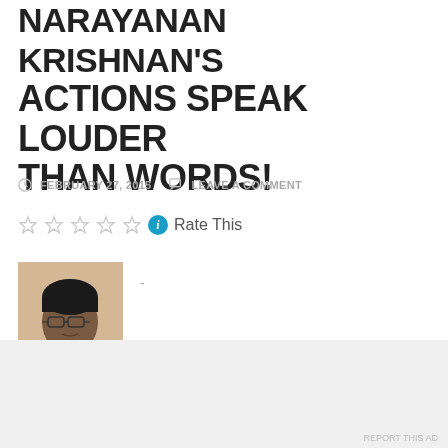NARAYANAN KRISHNAN'S ACTIONS SPEAK LOUDER THAN WORDS!
FEBRUARY 27, 2015   LEAVE A COMMENT
Rate This
[Figure (photo): Portrait photo of a middle-aged man wearing glasses and a dark shirt]
-
By T.V. Antony Raj
Advertisements